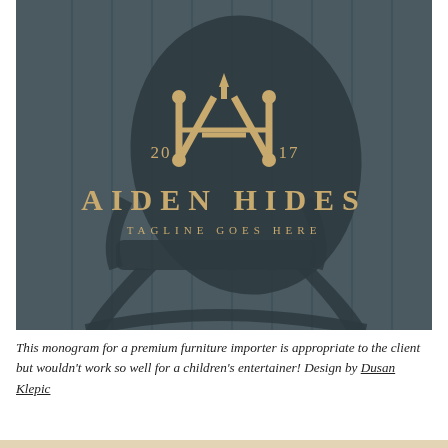[Figure (logo): Aiden Hides brand logo on a dark teal background showing a stylized rocking chair silhouette. The logo features an ornate monogram 'AH' with '20' on the left and '17' on the right, below which reads 'AIDEN HIDES' in large spaced serif letters and 'TAGLINE GOES HERE' in smaller spaced capitals.]
This monogram for a premium furniture importer is appropriate to the client but wouldn't work so well for a children's entertainer! Design by Dusan Klepic